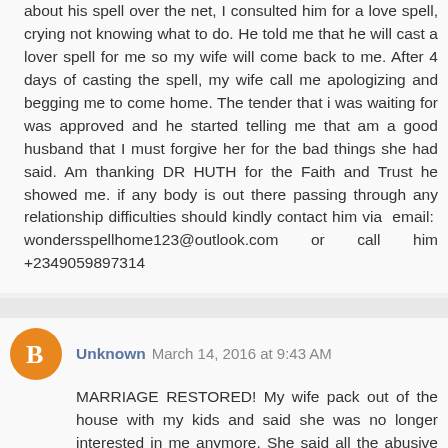about his spell over the net, I consulted him for a love spell, crying not knowing what to do. He told me that he will cast a lover spell for me so my wife will come back to me. After 4 days of casting the spell, my wife call me apologizing and begging me to come home. The tender that i was waiting for was approved and he started telling me that am a good husband that I must forgive her for the bad things she had said. Am thanking DR HUTH for the Faith and Trust he showed me. if any body is out there passing through any relationship difficulties should kindly contact him via email: wondersspellhome123@outlook.com or call him +2349059897314
Unknown  March 14, 2016 at 9:43 AM
MARRIAGE RESTORED! My wife pack out of the house with my kids and said she was no longer interested in me anymore. She said all the abusive words and said am not a good husband because I wasn't working, instead I was wasting